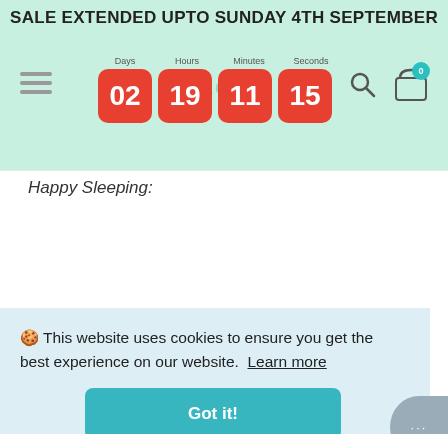SALE EXTENDED UPTO SUNDAY 4TH SEPTEMBER
[Figure (screenshot): Countdown timer showing 02 Days, 19 Hours, 11 Minutes, 15 Seconds with red digit boxes on green banner header]
Happy Sleeping:
[Figure (infographic): Floating teal shopping cart button with red badge showing 0]
🍪 This website uses cookies to ensure you get the best experience on our website. Learn more
Got it!